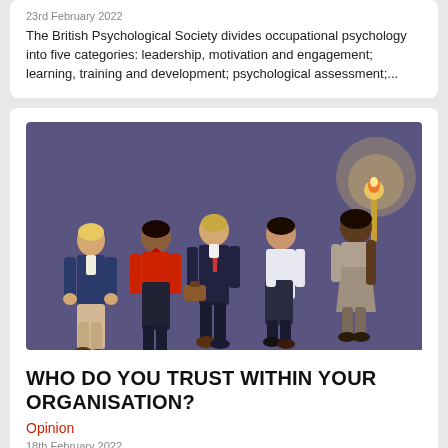23rd February 2022
The British Psychological Society divides occupational psychology into five categories: leadership, motivation and engagement; learning, training and development; psychological assessment;...
[Figure (illustration): Illustration of five diverse people walking together in a group, with the lead person holding a lit torch, on a purple/blue background.]
WHO DO YOU TRUST WITHIN YOUR ORGANISATION?
Opinion
18th February 2022
Since 2000, global PR consultancy Edelman has tracked the concept of 'trust' and what it means to people across the world. Triggered by World Trade Organization protests in Seattle in